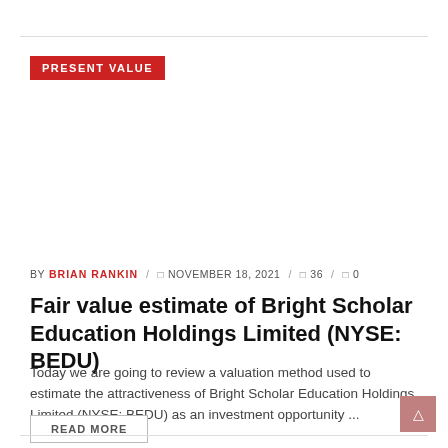PRESENT VALUE
BY BRIAN RANKIN / □ NOVEMBER 18, 2021 / □ 36 / □ 0
Fair value estimate of Bright Scholar Education Holdings Limited (NYSE: BEDU)
Today we are going to review a valuation method used to estimate the attractiveness of Bright Scholar Education Holdings Limited (NYSE: BEDU) as an investment opportunity ...
READ MORE